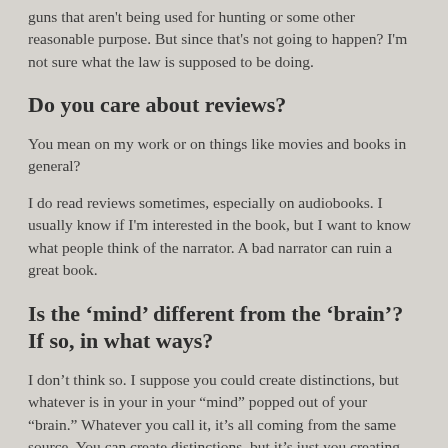guns that aren't being used for hunting or some other reasonable purpose. But since that's not going to happen? I'm not sure what the law is supposed to be doing.
Do you care about reviews?
You mean on my work or on things like movies and books in general?
I do read reviews sometimes, especially on audiobooks. I usually know if I'm interested in the book, but I want to know what people think of the narrator. A bad narrator can ruin a great book.
Is the ‘mind’ different from the ‘brain’? If so, in what ways?
I don’t think so. I suppose you could create distinctions, but whatever is in your in your “mind” popped out of your “brain.” Whatever you call it, it’s all coming from the same source. You can create distinctions, but it’s just you creating distinctions. I don’t think it means anything.